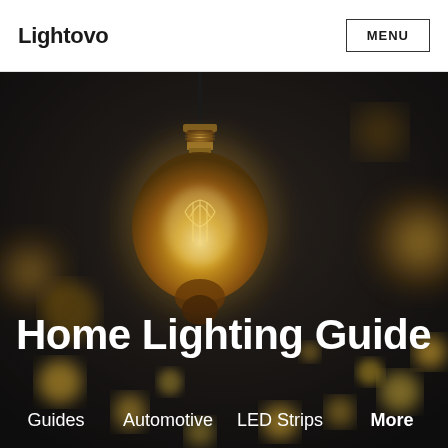Lightovo | MENU
[Figure (photo): Dark atmospheric photo of vintage Edison/filament light bulb hanging from cord, with multiple blurred warm-glowing bulbs in the background on a dark bokeh background]
Home Lighting Guide
Guides
Automotive
LED Strips
More